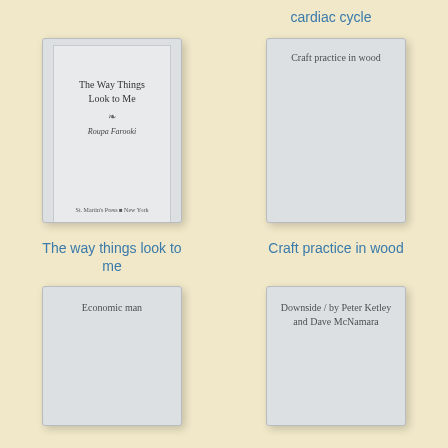cardiac cycle
[Figure (illustration): Book cover: The Way Things Look to Me by Roupa Farooki, published by St. Martin's Press, New York]
[Figure (illustration): Book cover placeholder: Craft practice in wood]
The way things look to me
Craft practice in wood
[Figure (illustration): Book cover placeholder: Economic man]
[Figure (illustration): Book cover placeholder: Downside / by Peter Ketley and Dave McNamara]